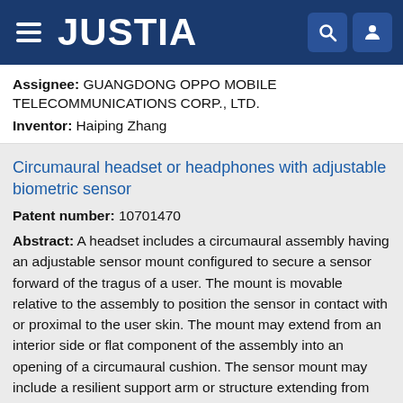JUSTIA
Assignee: GUANGDONG OPPO MOBILE TELECOMMUNICATIONS CORP., LTD.
Inventor: Haiping Zhang
Circumaural headset or headphones with adjustable biometric sensor
Patent number: 10701470
Abstract: A headset includes a circumaural assembly having an adjustable sensor mount configured to secure a sensor forward of the tragus of a user. The mount is movable relative to the assembly to position the sensor in contact with or proximal to the user skin. The mount may extend from an interior side or flat component of the assembly into an opening of a circumaural cushion. The sensor mount may include a resilient support arm or structure extending from behind a circumaural cushion, or integrated into the cushion, to use the